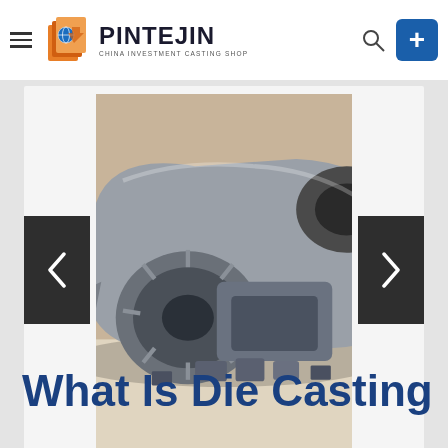PINTEJIN - China Investment Casting Shop
[Figure (photo): Photo of multiple aluminum die cast automotive parts on a white surface, including housings, brackets, and structural components]
What Is Die Casting